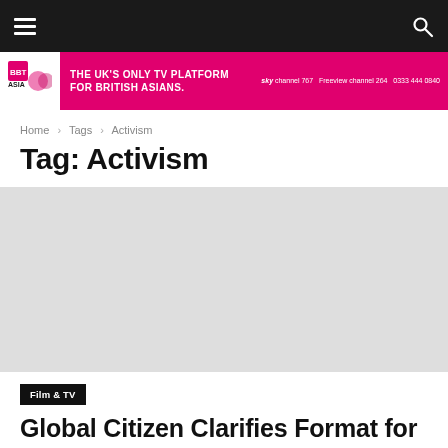Navigation bar with hamburger menu and search icon
[Figure (infographic): BBT Asia TV ad banner: THE UK'S ONLY TV PLATFORM FOR BRITISH ASIANS. sky channel 767  Freeview channel 264  0333 444 0840]
Home › Tags › Activism
Tag: Activism
[Figure (photo): Article thumbnail image placeholder (grey)]
Film & TV
Global Citizen Clarifies Format for New CBS Series 'The Activist'